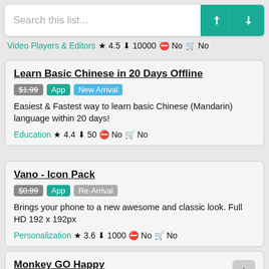Search this list...
Video Players & Editors ★ 4.5 ⬇ 10000 ⊖ No 🛒 No
Learn Basic Chinese in 20 Days Offline
$1.99 App New Arrival
Easiest & Fastest way to learn basic Chinese (Mandarin) language within 20 days!
Education ★ 4.4 ⬇ 50 ⊖ No 🛒 No
Vano - Icon Pack
$0.99 App Re-Arrival
Brings your phone to a new awesome and classic look. Full HD 192 x 192px
Personalization ★ 3.6 ⬇ 1000 ⊖ No 🛒 No
Monkey GO Happy
$1.49 Game New Arrival